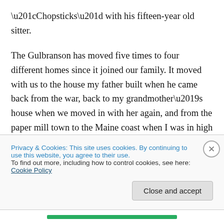“Chopsticks” with his fifteen-year old sitter.

The Gulbranson has moved five times to four different homes since it joined our family. It moved with us to the house my father built when he came back from the war, back to my grandmother’s house when we moved in with her again, and from the paper mill town to the Maine coast when I was in high school. It moved into the condo with my Mom after my Dad died. It has witnessed all the changes in our family, the comings and goings, the births and the deaths. It is the one piece of furniture that has
Privacy & Cookies: This site uses cookies. By continuing to use this website, you agree to their use.
To find out more, including how to control cookies, see here: Cookie Policy
Close and accept